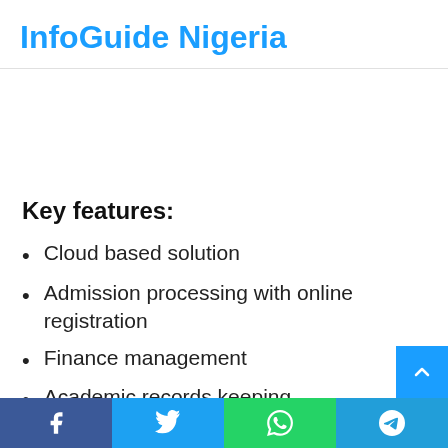InfoGuide Nigeria
Key features:
Cloud based solution
Admission processing with online registration
Finance management
Academic records keeping
Facebook | Twitter | WhatsApp | Telegram